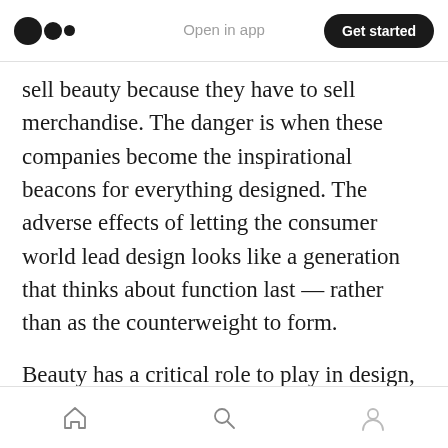Medium logo | Open in app | Get started
sell beauty because they have to sell merchandise. The danger is when these companies become the inspirational beacons for everything designed. The adverse effects of letting the consumer world lead design looks like a generation that thinks about function last — rather than as the counterweight to form.
Beauty has a critical role to play in design, of course. But beauty isn't the only role. One of the reasons that I was drawn to the discipline of design was its marriage of art and science. I grew to appreciate that tension and reverently submit
Home | Search | Profile